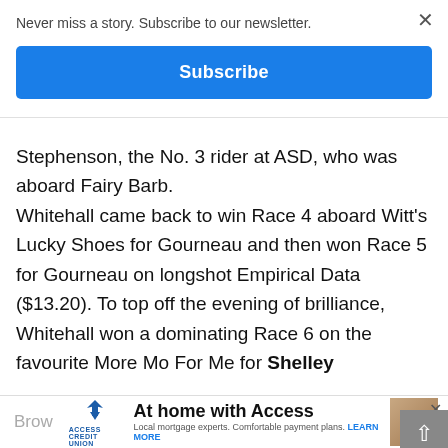Never miss a story. Subscribe to our newsletter.
Subscribe
Stephenson, the No. 3 rider at ASD, who was aboard Fairy Barb.
Whitehall came back to win Race 4 aboard Witt's Lucky Shoes for Gourneau and then won Race 5 for Gourneau on longshot Empirical Data ($13.20). To top off the evening of brilliance, Whitehall won a dominating Race 6 on the favourite More Mo For Me for Shelley Brow
At home with Access